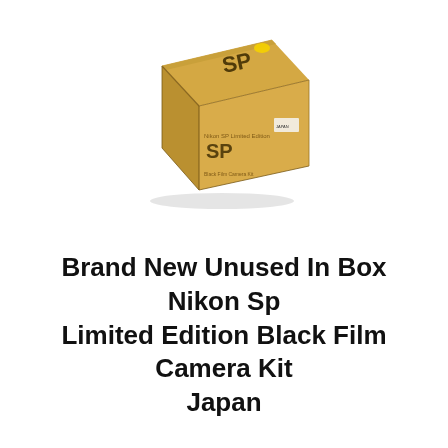[Figure (photo): A gold/tan colored cardboard box with 'SP' printed in large dark letters on both the top and front face, with Nikon branding. The box is photographed at a slight angle showing the top and front, isolated on a white background.]
Brand New Unused In Box Nikon Sp Limited Edition Black Film Camera Kit Japan